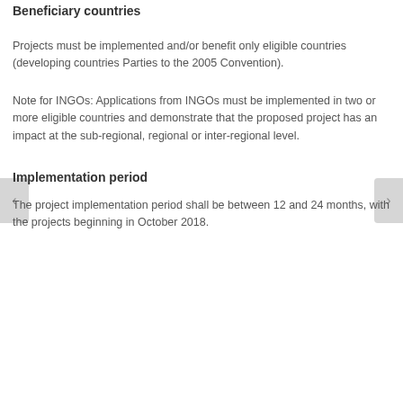Beneficiary countries
Projects must be implemented and/or benefit only eligible countries (developing countries Parties to the 2005 Convention).
Note for INGOs: Applications from INGOs must be implemented in two or more eligible countries and demonstrate that the proposed project has an impact at the sub-regional, regional or inter-regional level.
Implementation period
The project implementation period shall be between 12 and 24 months, with the projects beginning in October 2018.